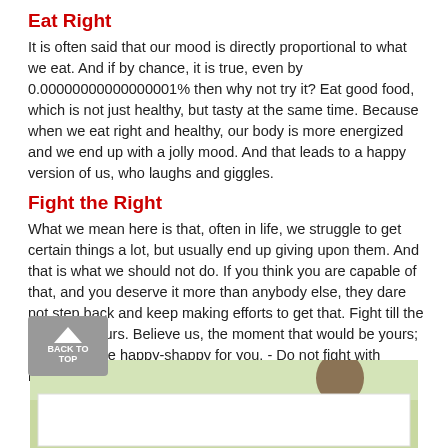Eat Right
It is often said that our mood is directly proportional to what we eat. And if by chance, it is true, even by 0.00000000000000001% then why not try it? Eat good food, which is not just healthy, but tasty at the same time. Because when we eat right and healthy, our body is more energized and we end up with a jolly mood. And that leads to a happy version of us, who laughs and giggles.
Fight the Right
What we mean here is that, often in life, we struggle to get certain things a lot, but usually end up giving upon them. And that is what we should not do. If you think you are capable of that, and you deserve it more than anybody else, they dare not step back and keep making efforts to get that. Fight till the time; it is yours. Believe us, the moment that would be yours; it would all be happy-shappy for you. - Do not fight with humans, fight for them.
[Figure (photo): Partial photo of a person outdoors with green background, partially obscured by a white box overlay]